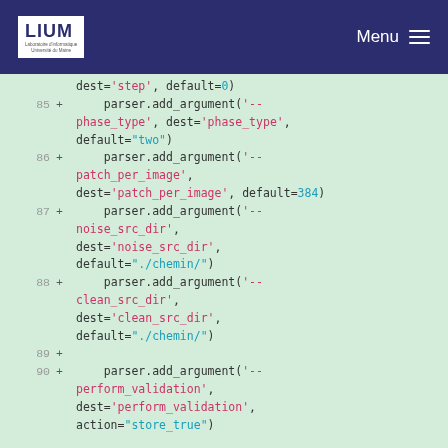LIUM | Menu
Code diff showing parser.add_argument calls for --phase_type, --patch_per_image, --noise_src_dir, --clean_src_dir, --perform_validation arguments in Python